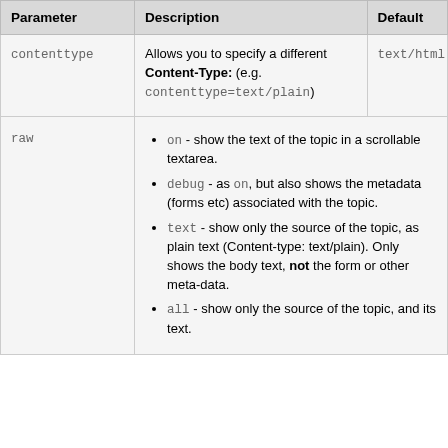| Parameter | Description | Default |
| --- | --- | --- |
| contenttype | Allows you to specify a different Content-Type: (e.g. contenttype=text/plain) | text/html |
| raw | • on - show the text of the topic in a scrollable textarea.
• debug - as on, but also shows the metadata (forms etc) associated with the topic.
• text - show only the source of the topic, as plain text (Content-type: text/plain). Only shows the body text, not the form or other meta-data.
• all - show only the source of the topic, and its text. |  |